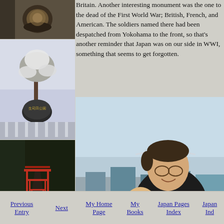[Figure (photo): Close-up of a bronze decorative spherical monument or ornament on a pedestal, Japan]
[Figure (photo): Black and white photo of a snow-covered tree (bonsai-like) with a Japanese park sign stone marker reading Japanese characters, with balustrades in background]
[Figure (photo): Photo of a Japanese shrine torii gate path with red torii gates and trees]
Britain. Another interesting monument was the one to the dead of the First World War; British, French, and American. The soldiers named there had been despatched from Yokohama to the front, so that's another reminder that Japan was on our side in WWI, something that seems to get forgotten.
[Figure (photo): Man wearing glasses holding a baby in a pink jacket, smiling, with Yokohama Bay Bridge and city skyline in background]
Previous Entry
Next
My Home Page
My Books
Japan Pages Index
Japan Ind